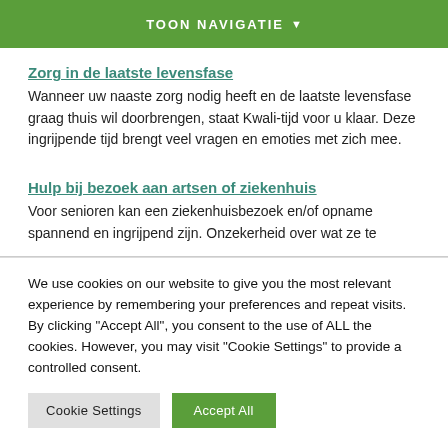TOON NAVIGATIE ▼
Zorg in de laatste levensfase
Wanneer uw naaste zorg nodig heeft en de laatste levensfase graag thuis wil doorbrengen, staat Kwali-tijd voor u klaar. Deze ingrijpende tijd brengt veel vragen en emoties met zich mee.
Hulp bij bezoek aan artsen of ziekenhuis
Voor senioren kan een ziekenhuisbezoek en/of opname spannend en ingrijpend zijn. Onzekerheid over wat ze te
We use cookies on our website to give you the most relevant experience by remembering your preferences and repeat visits. By clicking "Accept All", you consent to the use of ALL the cookies. However, you may visit "Cookie Settings" to provide a controlled consent.